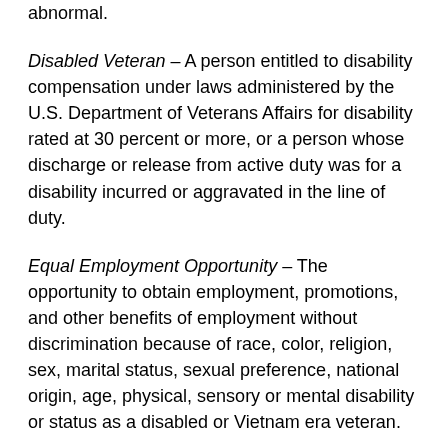abnormal.
Disabled Veteran – A person entitled to disability compensation under laws administered by the U.S. Department of Veterans Affairs for disability rated at 30 percent or more, or a person whose discharge or release from active duty was for a disability incurred or aggravated in the line of duty.
Equal Employment Opportunity – The opportunity to obtain employment, promotions, and other benefits of employment without discrimination because of race, color, religion, sex, marital status, sexual preference, national origin, age, physical, sensory or mental disability or status as a disabled or Vietnam era veteran.
Genetic Information - includes information about an individual's genetic tests and the genetic tests of an individual's family members, as well as information about any disease, disorder, or condition of an individual's family